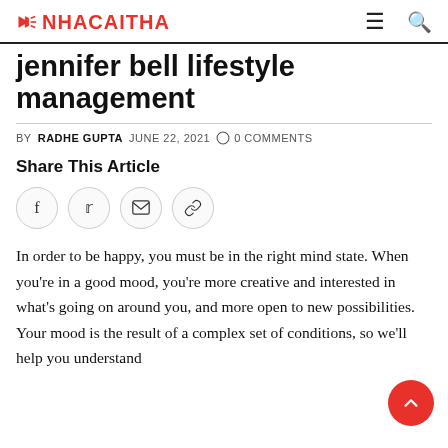NHACAITHA
jennifer bell lifestyle management
BY RADHE GUPTA   JUNE 22, 2021   0 COMMENTS
Share This Article
In order to be happy, you must be in the right mind state. When you're in a good mood, you're more creative and interested in what's going on around you, and more open to new possibilities. Your mood is the result of a complex set of conditions, so we'll help you understand